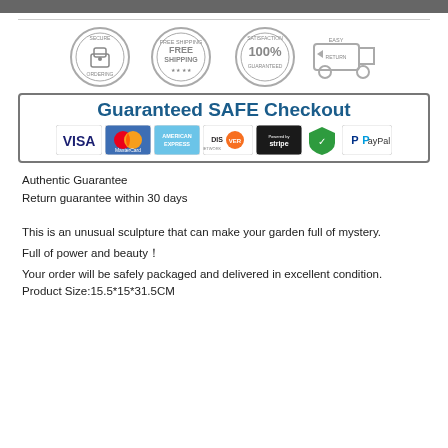[Figure (infographic): Guaranteed Safe Checkout banner with trust badges (Secure Ordering, Free Shipping, 100% Satisfaction Guaranteed, Easy Returns) and payment method logos (Visa, MasterCard, American Express, Discover, Stripe, green shield, PayPal)]
Authentic Guarantee
Return guarantee within 30 days
This is an unusual sculpture that can make your garden full of mystery.
Full of power and beauty！
Your order will be safely packaged and delivered in excellent condition.
Product Size:15.5*15*31.5CM